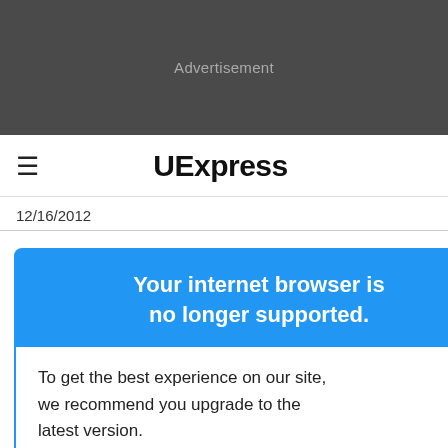[Figure (other): Dark gray advertisement banner area with 'Advertisement' label in light gray text]
UExpress
12/16/2012
If you love pistachios, then this Do Just One Thing tip
Your internet browser is no longer supported.
To get the best experience on our site, we recommend you upgrade to the latest version.